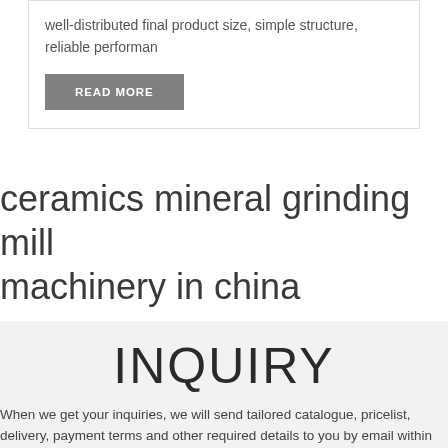well-distributed final product size, simple structure, reliable performan
READ MORE
ceramics mineral grinding mill machinery in china
INQUIRY
When we get your inquiries, we will send tailored catalogue, pricelist, delivery, payment terms and other required details to you by email within 24 hours.
pruduct*